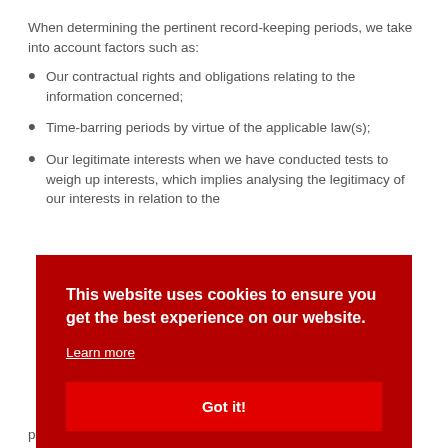When determining the pertinent record-keeping periods, we take into account factors such as:
Our contractual rights and obligations relating to the information concerned;
Time-barring periods by virtue of the applicable law(s);
Our legitimate interests when we have conducted tests to weigh up interests, which implies analysing the legitimacy of our interests in relation to the
[Figure (screenshot): Cookie consent banner with dark red background. Text reads: 'This website uses cookies to ensure you get the best experience on our website.' with a 'Learn more' underlined link and a 'Got it!' button in bright red.]
or potential legal dispute (e.g. we need information to